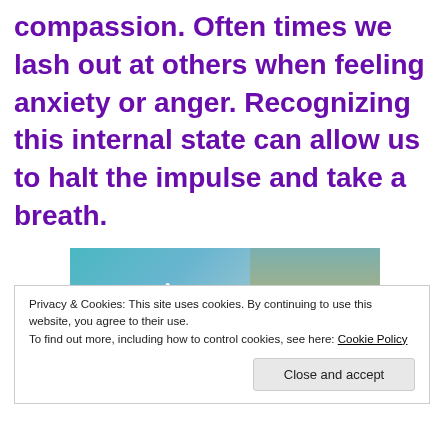compassion. Often times we lash out at others when feeling anxiety or anger. Recognizing this internal state can allow us to halt the impulse and take a breath.
[Figure (screenshot): Advertisement banner showing the word 'stories.' in white italic text on a teal/blue gradient background, alongside an image of a person in a yellow jacket near a waterfall.]
Privacy & Cookies: This site uses cookies. By continuing to use this website, you agree to their use.
To find out more, including how to control cookies, see here: Cookie Policy
Close and accept